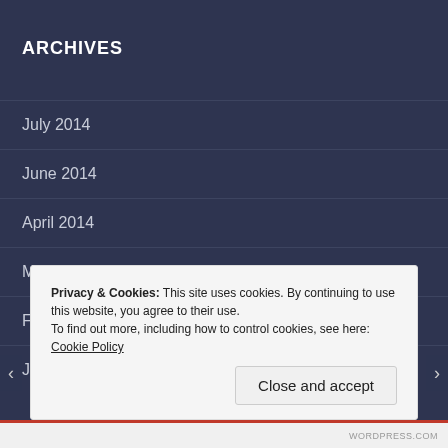ARCHIVES
July 2014
June 2014
April 2014
March 2014
February 2014
January 2014
Privacy & Cookies: This site uses cookies. By continuing to use this website, you agree to their use.
To find out more, including how to control cookies, see here: Cookie Policy
Close and accept